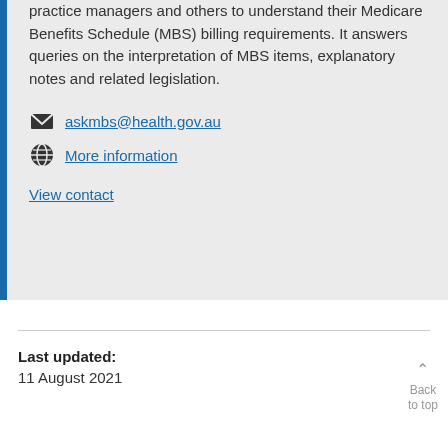practice managers and others to understand their Medicare Benefits Schedule (MBS) billing requirements. It answers queries on the interpretation of MBS items, explanatory notes and related legislation.
askmbs@health.gov.au
More information
View contact
Last updated:
11 August 2021